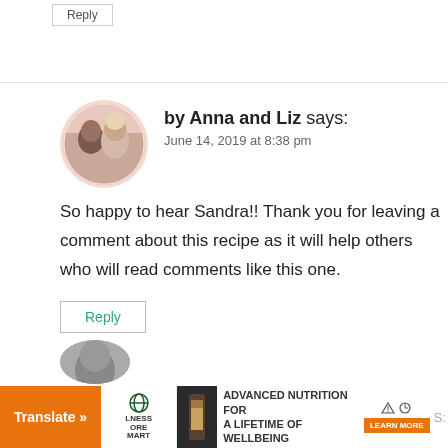Reply
by Anna and Liz says:
June 14, 2019 at 8:38 pm
So happy to hear Sandra!! Thank you for leaving a comment about this recipe as it will help others who will read comments like this one.
Reply
Translate »
ADVANCED NUTRITION FOR A LIFETIME OF WELLBEING
LEARN MORE